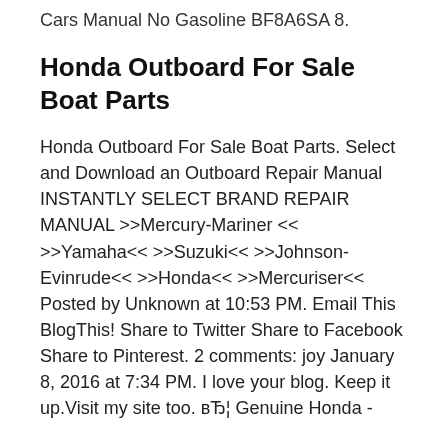Cars Manual No Gasoline BF8A6SA 8.
Honda Outboard For Sale Boat Parts
Honda Outboard For Sale Boat Parts. Select and Download an Outboard Repair Manual INSTANTLY SELECT BRAND REPAIR MANUAL >>Mercury-Mariner << >>Yamaha<< >>Suzuki<< >>Johnson-Evinrude<< >>Honda<< >>Mercuriser<< Posted by Unknown at 10:53 PM. Email This BlogThis! Share to Twitter Share to Facebook Share to Pinterest. 2 comments: joy January 8, 2016 at 7:34 PM. I love your blog. Keep it up.Visit my site too. вЂ¦ Genuine Honda -